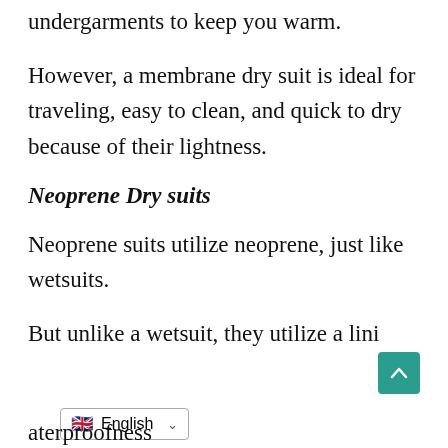undergarments to keep you warm.
However, a membrane dry suit is ideal for traveling, easy to clean, and quick to dry because of their lightness.
Neoprene Dry suits
Neoprene suits utilize neoprene, just like wetsuits.
But unlike a wetsuit, they utilize a lini
aterproofness